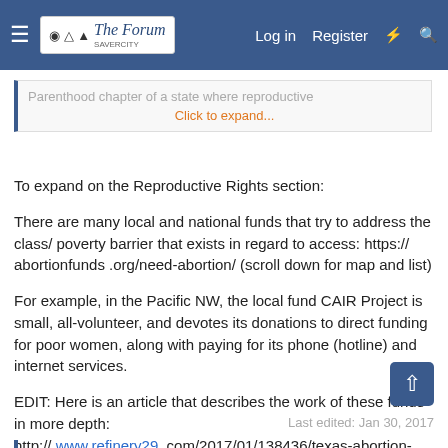The Forum — Log in  Register
Parenthood chapter of a state where reproductive
Click to expand...
To expand on the Reproductive Rights section:
There are many local and national funds that try to address the class/ poverty barrier that exists in regard to access: https:// abortionfunds .org/need-abortion/ (scroll down for map and list)
For example, in the Pacific NW, the local fund CAIR Project is small, all-volunteer, and devotes its donations to direct funding for poor women, along with paying for its phone (hotline) and internet services.
EDIT: Here is an article that describes the work of these funds in more depth:
http:// www.refinery29 .com/2017/01/138436/texas-abortion-travel-agent-stories
Last edited: Jan 30, 2017